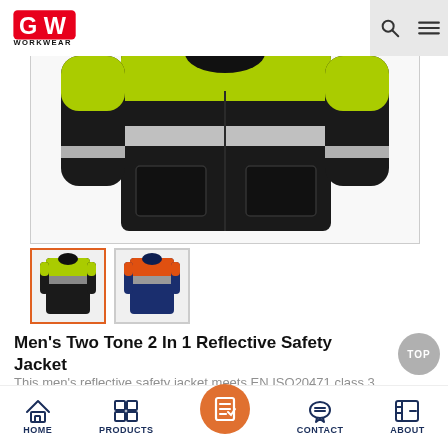GW WORKWEAR
[Figure (photo): Men's two tone 2-in-1 reflective safety jacket shown from the front on a mannequin. The jacket is black with bright yellow-green shoulders and chest, and a silver reflective stripe across the middle.]
[Figure (photo): Thumbnail 1: Yellow-green and black reflective safety jacket (active/selected)]
[Figure (photo): Thumbnail 2: Orange and navy blue reflective safety jacket]
Men's Two Tone 2 In 1 Reflective Safety Jacket
This men's reflective safety jacket meets EN ISO20471 class 3 requirements for those working in dangerous
HOME  PRODUCTS  CONTACT  ABOUT